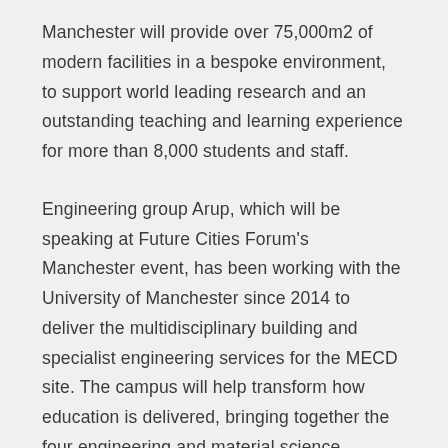Manchester will provide over 75,000m2 of modern facilities in a bespoke environment, to support world leading research and an outstanding teaching and learning experience for more than 8,000 students and staff.
Engineering group Arup, which will be speaking at Future Cities Forum's Manchester event, has been working with the University of Manchester since 2014 to deliver the multidisciplinary building and specialist engineering services for the MECD site. The campus will help transform how education is delivered, bringing together the four engineering and material science departments into one coherent facility.